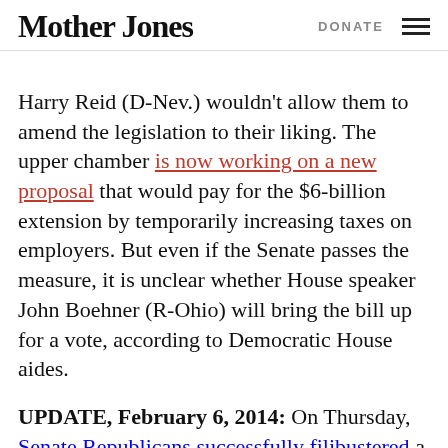Mother Jones | DONATE
Harry Reid (D-Nev.) wouldn't allow them to amend the legislation to their liking. The upper chamber is now working on a new proposal that would pay for the $6-billion extension by temporarily increasing taxes on employers. But even if the Senate passes the measure, it is unclear whether House speaker John Boehner (R-Ohio) will bring the bill up for a vote, according to Democratic House aides.
UPDATE, February 6, 2014: On Thursday, Senate Republicans successfully filibustered a Democratic bill that would have extended unemployment benefits for 3 months. The vote was 55-42, but Democrats needed 60 votes to advance the